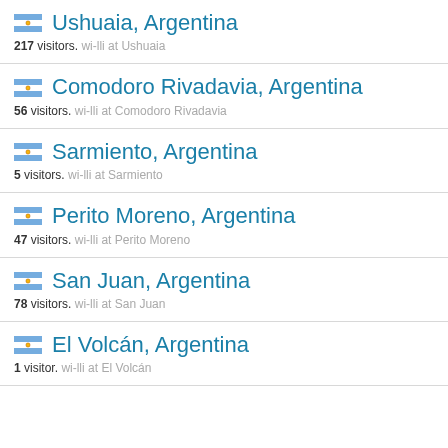Ushuaia, Argentina — 217 visitors. wi-lli at Ushuaia
Comodoro Rivadavia, Argentina — 56 visitors. wi-lli at Comodoro Rivadavia
Sarmiento, Argentina — 5 visitors. wi-lli at Sarmiento
Perito Moreno, Argentina — 47 visitors. wi-lli at Perito Moreno
San Juan, Argentina — 78 visitors. wi-lli at San Juan
El Volcán, Argentina — 1 visitor. wi-lli at El Volcán